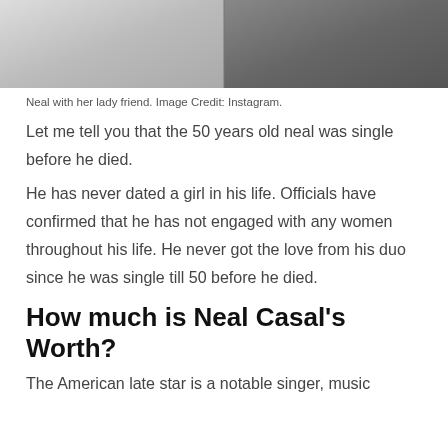[Figure (photo): Black and white photo of two people standing together, partially cropped at top]
Neal with her lady friend. Image Credit: Instagram.
Let me tell you that the 50 years old neal was single before he died.
He has never dated a girl in his life. Officials have confirmed that he has not engaged with any women throughout his life. He never got the love from his duo since he was single till 50 before he died.
How much is Neal Casal's Worth?
The American late star is a notable singer, music